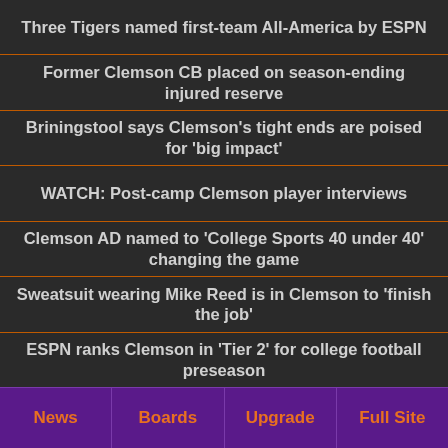Three Tigers named first-team All-America by ESPN
Former Clemson CB placed on season-ending injured reserve
Briningstool says Clemson's tight ends are poised for 'big impact'
WATCH: Post-camp Clemson player interviews
Clemson AD named to 'College Sports 40 under 40' changing the game
Sweatsuit wearing Mike Reed is in Clemson to 'finish the job'
ESPN ranks Clemson in 'Tier 2' for college football preseason
News | Boards | Upgrade | Full Site